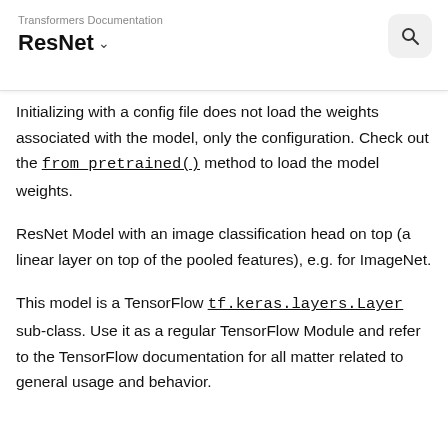Transformers Documentation
ResNet
Initializing with a config file does not load the weights associated with the model, only the configuration. Check out the from_pretrained() method to load the model weights.
ResNet Model with an image classification head on top (a linear layer on top of the pooled features), e.g. for ImageNet.
This model is a TensorFlow tf.keras.layers.Layer sub-class. Use it as a regular TensorFlow Module and refer to the TensorFlow documentation for all matter related to general usage and behavior.